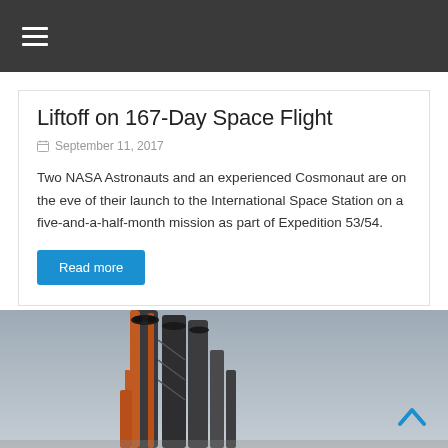≡ (hamburger menu icon)
Liftoff on 167-Day Space Flight
September 11, 2017
Two NASA Astronauts and an experienced Cosmonaut are on the eve of their launch to the International Space Station on a five-and-a-half-month mission as part of Expedition 53/54.
Read more
[Figure (photo): A Soyuz rocket on a launch pad photographed from a low angle against a pale sky at dusk, showing orange and dark cylindrical booster sections.]